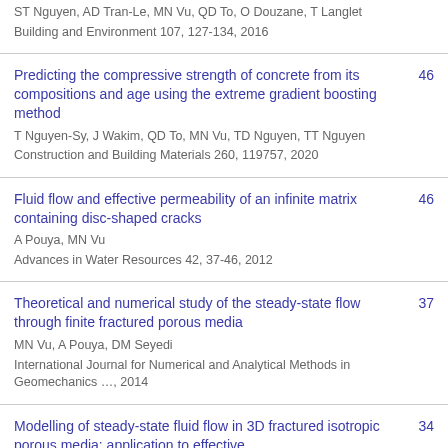ST Nguyen, AD Tran-Le, MN Vu, QD To, O Douzane, T Langlet
Building and Environment 107, 127-134, 2016
Predicting the compressive strength of concrete from its compositions and age using the extreme gradient boosting method
T Nguyen-Sy, J Wakim, QD To, MN Vu, TD Nguyen, TT Nguyen
Construction and Building Materials 260, 119757, 2020
46
Fluid flow and effective permeability of an infinite matrix containing disc-shaped cracks
A Pouya, MN Vu
Advances in Water Resources 42, 37-46, 2012
46
Theoretical and numerical study of the steady-state flow through finite fractured porous media
MN Vu, A Pouya, DM Seyedi
International Journal for Numerical and Analytical Methods in Geomechanics …, 2014
37
Modelling of steady-state fluid flow in 3D fractured isotropic porous media: application to effective
34